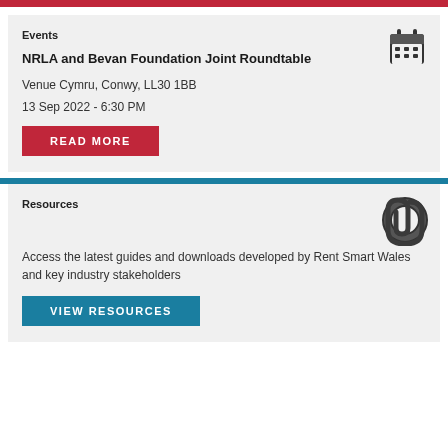Events
NRLA and Bevan Foundation Joint Roundtable
Venue Cymru, Conwy, LL30 1BB
13 Sep 2022 - 6:30 PM
READ MORE
Resources
Access the latest guides and downloads developed by Rent Smart Wales and key industry stakeholders
VIEW RESOURCES